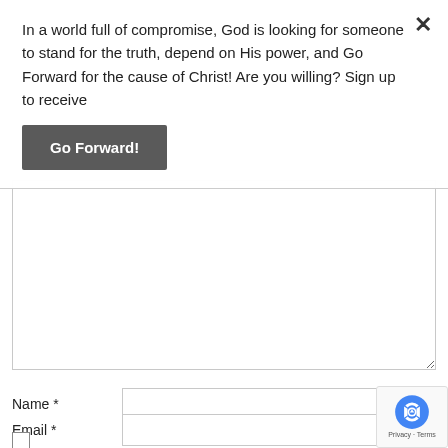In a world full of compromise, God is looking for someone to stand for the truth, depend on His power, and Go Forward for the cause of Christ! Are you willing? Sign up to receive
[Figure (other): Go Forward! button - dark gray rectangular button with white bold text]
[Figure (screenshot): Large comment/message textarea input box, empty, with resize handle at bottom right]
Name *
[Figure (other): Name text input field]
Email *
[Figure (other): Email text input field]
[Figure (other): Checkbox (unchecked)]
[Figure (logo): Google reCAPTCHA badge with logo, Privacy and Terms links]